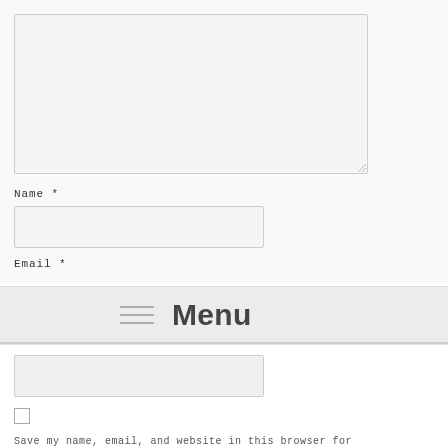[Figure (screenshot): Large comment textarea input box, empty, with resize handle at bottom-right corner]
Name *
[Figure (screenshot): Name text input field, empty]
Email *
[Figure (screenshot): Menu bar overlay with hamburger icon and Menu label]
[Figure (screenshot): Email text input field, empty]
[Figure (screenshot): Checkbox for saving name, email, website]
Save my name, email, and website in this browser for the next time I comment.
[Figure (screenshot): Post Comment button]
[Figure (screenshot): Another checkbox at the bottom]